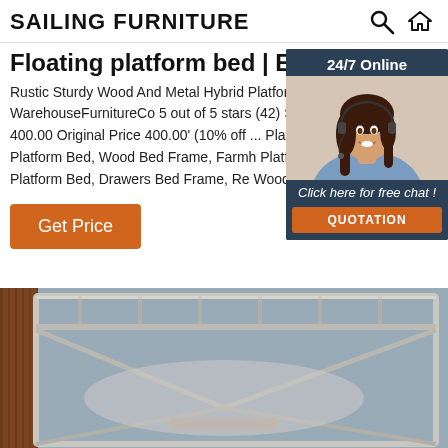SAILING FURNITURE
Floating platform bed | Etsy
Rustic Sturdy Wood And Metal Hybrid Platform Bed Frame WarehouseFurnitureCo 5 out of 5 stars (42) Sale Price 360.00 400.00 Original Price 400.00' (10% off ... Platform Wood, Rustic Platform Bed, Wood Bed Frame, Farmh Platform, King Platform Bed, Drawers Bed Frame, Re Wood Bed ...
[Figure (photo): Customer service representative lady with headset, used in a 24/7 online chat widget with dark blue background, 'Click here for free chat!' text and an orange QUOTATION button]
Get Price
[Figure (photo): Bottom portion of a floating platform bed frame showing metallic chrome/silver frame structure from above, with wooden slat headboard visible on left side]